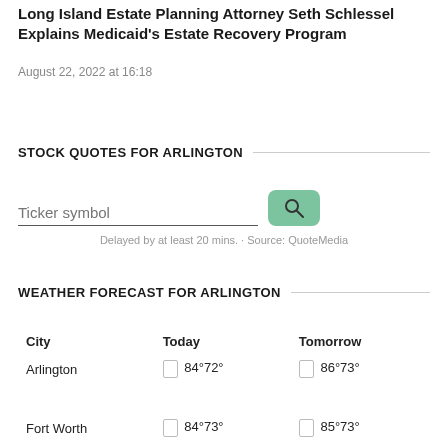Long Island Estate Planning Attorney Seth Schlessel Explains Medicaid's Estate Recovery Program
August 22, 2022 at 16:18
STOCK QUOTES FOR ARLINGTON
Ticker symbol
Delayed by at least 20 mins. · Source: QuoteMedia
WEATHER FORECAST FOR ARLINGTON
| City | Today | Tomorrow |
| --- | --- | --- |
| Arlington | 84°72° | 86°73° |
| Fort Worth | 84°73° | 85°73° |